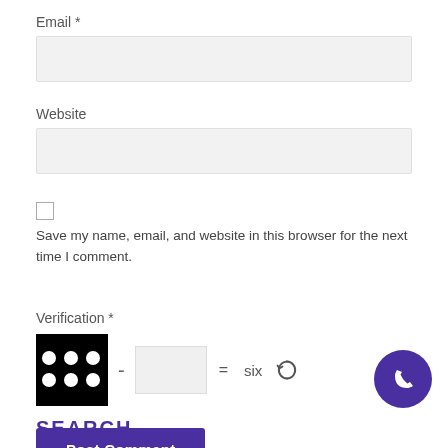Email *
[Figure (screenshot): Empty email input field (light gray background)]
Website
[Figure (screenshot): Empty website input field (light gray background)]
Save my name, email, and website in this browser for the next time I comment.
Verification *
[Figure (other): CAPTCHA verification: black dice showing 6 dots minus empty input box equals six, with refresh icon]
Post Comment
[Figure (other): Purple phone call button circle in bottom right]
SEARCH